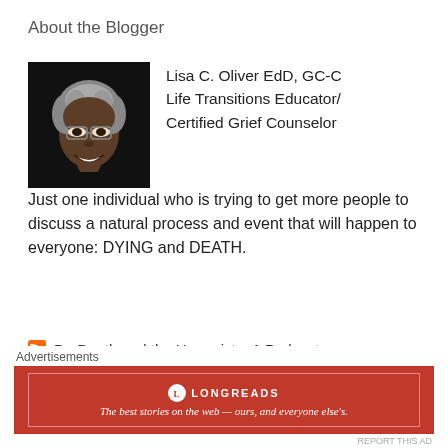About the Blogger
[Figure (photo): Headshot photo of Lisa C. Oliver, a Black woman with short natural gray hair, wearing glasses, smiling, against a dark background.]
Lisa C. Oliver EdD, GC-C
Life Transitions Educator/
Certified Grief Counselor

Just one individual who is trying to get more people to discuss a natural process and event that will happen to everyone: DYING and DEATH.
Dr. Death and the Humorist – A Podcast
Five Reasons Why You Should Plan
Advertisements
[Figure (screenshot): Longreads advertisement banner: dark red background with Longreads logo and text 'The best stories on the web — ours, and everyone else's.']